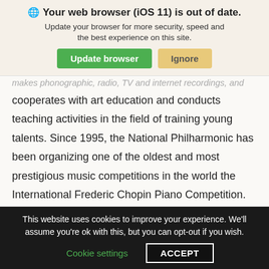[Figure (screenshot): Browser update notification banner with globe icon, bold title 'Your web browser (iOS 11) is out of date.', subtitle text, green 'Update browser' button and tan 'Ignore' button]
makes phonographic, radio, TV and internet recordings, and cooperates with art education and conducts teaching activities in the field of training young talents. Since 1995, the National Philharmonic has been organizing one of the oldest and most prestigious music competitions in the world the International Frederic Chopin Piano Competition.
http://filharmonia.pl/
[Figure (logo): Partial blue arch/building logo icon]
This website uses cookies to improve your experience. We'll assume you're ok with this, but you can opt-out if you wish.
Cookie settings   ACCEPT